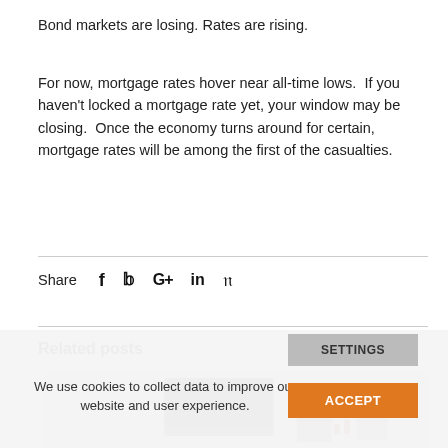Bond markets are losing. Rates are rising.
For now, mortgage rates hover near all-time lows.  If you haven't locked a mortgage rate yet, your window may be closing.  Once the economy turns around for certain, mortgage rates will be among the first of the casualties.
Share  f  𝕏  G+  in  𝒫
Related posts
[Figure (photo): Photo of a calculator or architectural/blueprint items on a grid surface]
We use cookies to collect data to improve our website and user experience.
SETTINGS
ACCEPT